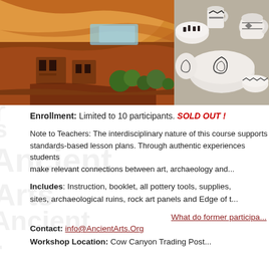[Figure (photo): Two photos side by side: left shows ancient cliff dwellings under a large orange sandstone overhang with green vegetation; right shows collection of Native American black-and-white pottery bowls and vessels.]
Enrollment: Limited to 10 participants. SOLD OUT !
Note to Teachers: The interdisciplinary nature of this course supports standards-based lesson plans. Through authentic experiences students make relevant connections between art, archaeology and...
Includes: Instruction, booklet, all pottery tools, supplies, sites, archaeological ruins, rock art panels and Edge of t...
What do former participa...
Contact: info@AncientArts.Org
Workshop Location: Cow Canyon Trading Post...